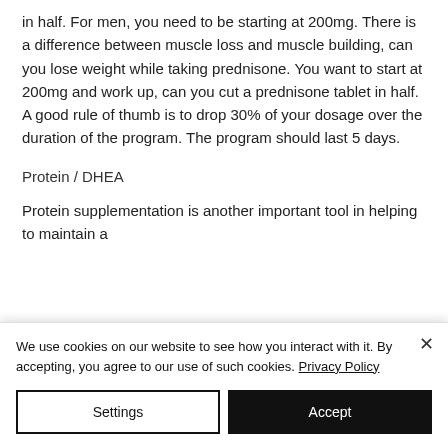in half. For men, you need to be starting at 200mg. There is a difference between muscle loss and muscle building, can you lose weight while taking prednisone. You want to start at 200mg and work up, can you cut a prednisone tablet in half. A good rule of thumb is to drop 30% of your dosage over the duration of the program. The program should last 5 days.
Protein / DHEA
Protein supplementation is another important tool in helping to maintain a
We use cookies on our website to see how you interact with it. By accepting, you agree to our use of such cookies. Privacy Policy
Settings
Accept